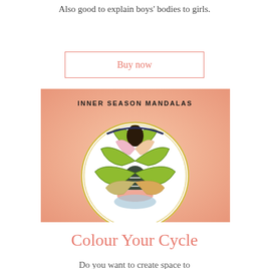Also good to explain boys' bodies to girls.
Buy now
[Figure (illustration): Inner Season Mandalas book cover showing a colorful circular mandala design with a peacock/fan motif on a peach/salmon gradient background, with the text 'INNER SEASON MANDALAS' at the top.]
Colour Your Cycle
Do you want to create space to